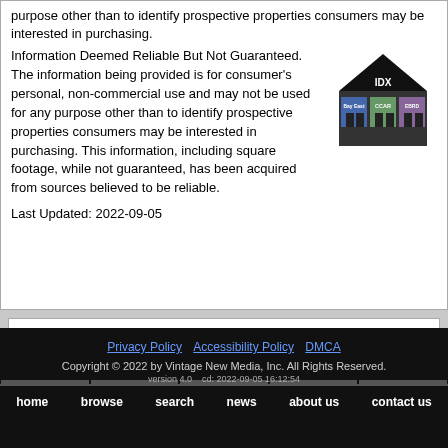purpose other than to identify prospective properties consumers may be interested in purchasing.
[Figure (logo): IDX logo showing Bay East, CCAR, and EBRD associations with house icon]
Information Deemed Reliable But Not Guaranteed. The information being provided is for consumer's personal, non-commercial use and may not be used for any purpose other than to identify prospective properties consumers may be interested in purchasing. This information, including square footage, while not guaranteed, has been acquired from sources believed to be reliable.
Last Updated: 2022-09-05
Privacy Policy  Accessibility Policy  DMCA
Copyright © 2022 by Vintage New Media, Inc. All Rights Reserved.
version 4.0  cd: 2022-09-05 16:12:54
home  browse  search  news  about us  contact us